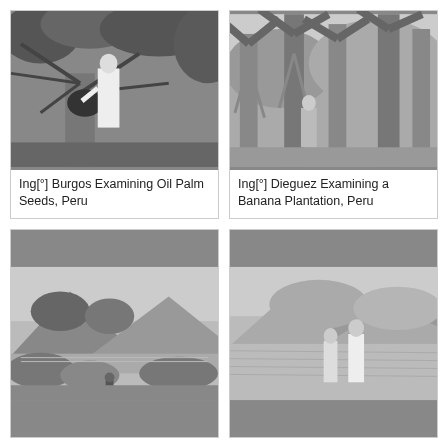[Figure (photo): Black and white photo of a person in white clothing examining oil palm seeds on a palm plant in Peru]
Ing[°] Burgos Examining Oil Palm Seeds, Peru
[Figure (photo): Black and white photo of a person standing in a banana plantation with tall banana trees in Peru]
Ing[°] Dieguez Examining a Banana Plantation, Peru
[Figure (photo): Black and white landscape photo of a river or waterway with vegetation and mountains in the background, Peru]
[Figure (photo): Black and white photo of two people standing in a field with mountains in the background, Peru]